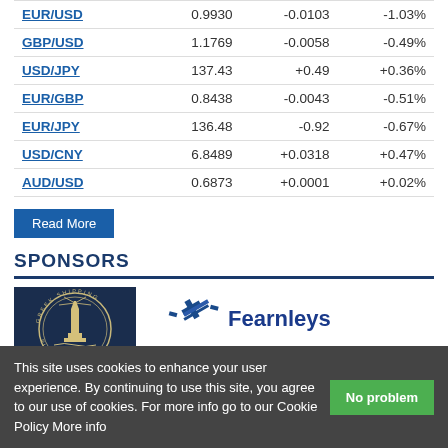| Pair | Rate | Change | Change% |
| --- | --- | --- | --- |
| EUR/USD | 0.9930 | -0.0103 | -1.03% |
| GBP/USD | 1.1769 | -0.0058 | -0.49% |
| USD/JPY | 137.43 | +0.49 | +0.36% |
| EUR/GBP | 0.8438 | -0.0043 | -0.51% |
| EUR/JPY | 136.48 | -0.92 | -0.67% |
| USD/CNY | 6.8489 | +0.0318 | +0.47% |
| AUD/USD | 0.6873 | +0.0001 | +0.02% |
Read More
SPONSORS
[Figure (logo): Greek Shipping Publications circular logo with lighthouse, dark navy background]
[Figure (logo): Fearnleys logo with blue cross/satellite icon and bold blue Fearnleys text]
[Figure (photo): Partially visible sponsor image at bottom, teal/dark colors]
This site uses cookies to enhance your user experience. By continuing to use this site, you agree to our use of cookies. For more info go to our Cookie Policy More info